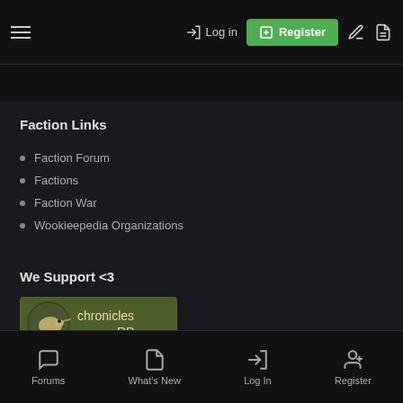Log in | Register
Faction Links
Faction Forum
Factions
Faction War
Wookieepedia Organizations
We Support <3
[Figure (logo): Chronicles RP logo banner — dark olive green background with a kiwi bird icon and text 'chronicles RP']
Forums | What's New | Log In | Register